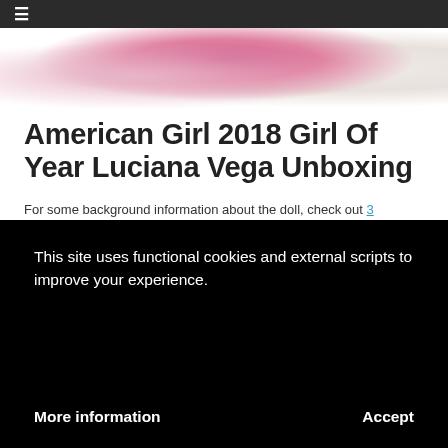☰
[Figure (photo): Hero image showing people, including someone in a colorful floral dress and someone in white lace, partially cropped at top of page]
American Girl 2018 Girl Of Year Luciana Vega Unboxing
For some background information about the doll, check out 3 Reasons To Love American Girl's 2018 Girl Of The Year Luciana Vega. Not only is Luciana a STEM doll who dreams of being an astronaut, but she is also a courageous leader. If you're looking for a doll who is a good role model for children, she's a great
This site uses functional cookies and external scripts to improve your experience.
More information    Accept